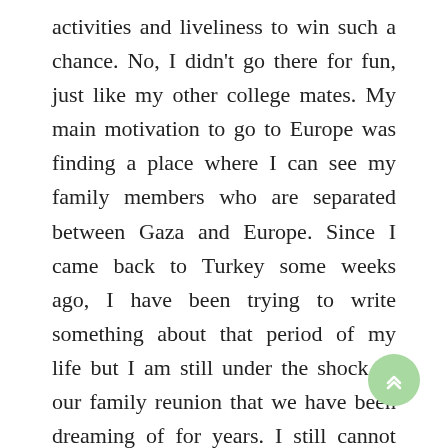activities and liveliness to win such a chance. No, I didn't go there for fun, just like my other college mates. My main motivation to go to Europe was finding a place where I can see my family members who are separated between Gaza and Europe. Since I came back to Turkey some weeks ago, I have been trying to write something about that period of my life but I am still under the shock of our family reunion that we have been dreaming of for years. I still cannot believe that I finally slept in mum's lap like a child after 4 years of separation and felt her unconditional love I missed. I am still shocked that I laughed, cried, hung out with my siblings after such a long time.